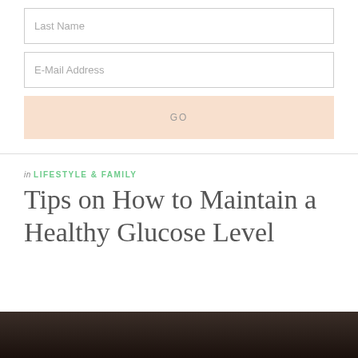Last Name
E-Mail Address
GO
in LIFESTYLE & FAMILY
Tips on How to Maintain a Healthy Glucose Level
[Figure (photo): Dark background photo, partially visible at the bottom of the page]